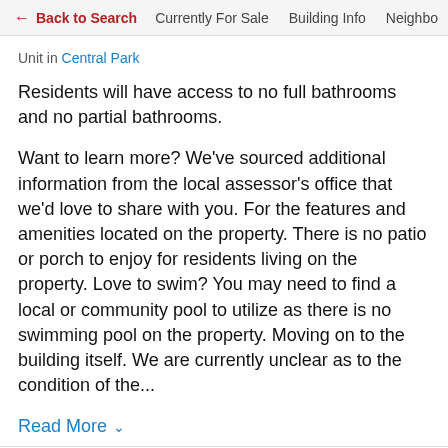← Back to Search   Currently For Sale   Building Info   Neighbo
Unit in Central Park
Residents will have access to no full bathrooms and no partial bathrooms.
Want to learn more? We've sourced additional information from the local assessor's office that we'd love to share with you. For the features and amenities located on the property. There is no patio or porch to enjoy for residents living on the property. Love to swim? You may need to find a local or community pool to utilize as there is no swimming pool on the property. Moving on to the building itself. We are currently unclear as to the condition of the...
Read More ∨